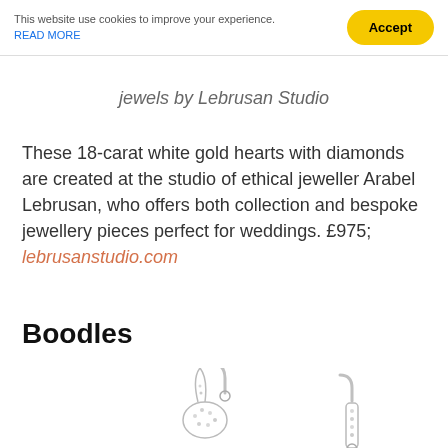This website use cookies to improve your experience. READ MORE Accept
jewels by Lebrusan Studio
These 18-carat white gold hearts with diamonds are created at the studio of ethical jeweller Arabel Lebrusan, who offers both collection and bespoke jewellery pieces perfect for weddings. £975; lebrusanstudio.com
Boodles
[Figure (photo): Photo of diamond jewellery pieces by Boodles, showing sparkling rabbit and drop earrings with pavé diamond settings in white gold]